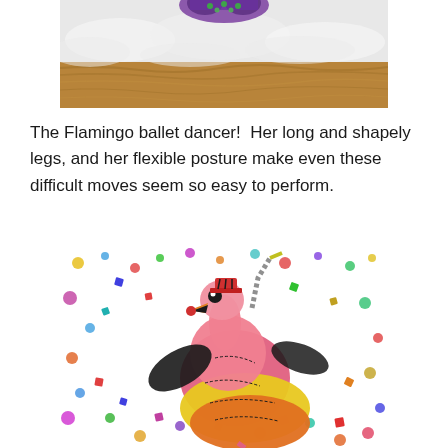[Figure (photo): Top portion of a textile/fabric artwork showing a brown wood-grain border strip with white fluffy cloud-like fabric above it and a partially visible colorful figure at the top edge.]
The Flamingo ballet dancer!  Her long and shapely legs, and her flexible posture make even these difficult moves seem so easy to perform.
[Figure (photo): A colorful fabric appliqué artwork of a flamingo ballet dancer bird character with pink body, black wings, yellow and orange layered skirt, wearing a small red hat, posed against a white background covered in multicolored dots and squares (confetti-like polka dot fabric).]